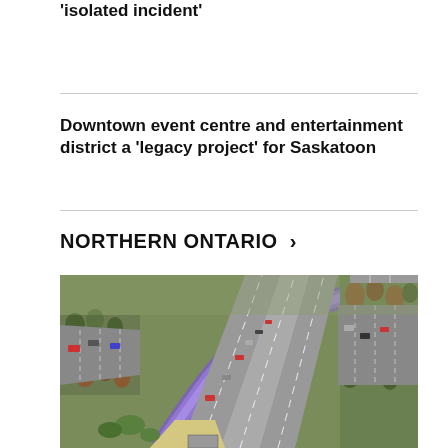'isolated incident'
Downtown event centre and entertainment district a 'legacy project' for Saskatoon
NORTHERN ONTARIO >
[Figure (photo): Aerial rendering of a highway interchange with a purple/blue transit corridor lane, multiple lanes of traffic, cars, trees, and green landscaping — an engineering/transportation infrastructure illustration.]